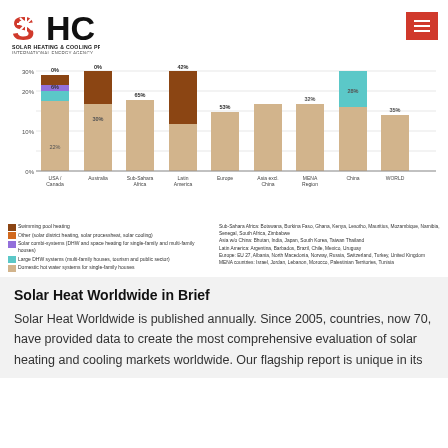[Figure (logo): SHC Solar Heating & Cooling Programme, International Energy Agency logo]
[Figure (stacked-bar-chart): Share of solar thermal collector applications by region (2021)]
Solar Heat Worldwide in Brief
Solar Heat Worldwide is published annually. Since 2005, countries, now 70, have provided data to create the most comprehensive evaluation of solar heating and cooling markets worldwide. Our flagship report is unique in its